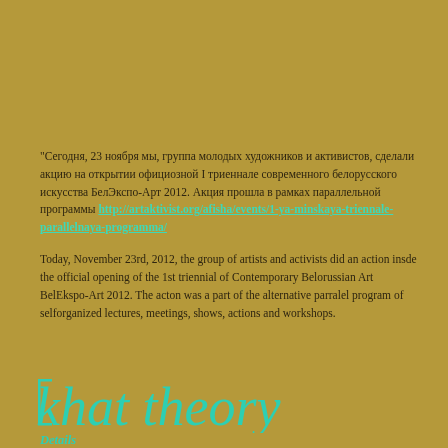"Сегодня, 23 ноября мы, группа молодых художников и активистов, сделали акцию на открытии официозной I триеннале современного белорусского искусства БелЭкспо-Арт 2012. Акция прошла в рамках параллельной программы http://artaktivist.org/afisha/events/1-ya-minskaya-triennale-parallelnaya-programma/
Today, November 23rd, 2012, the group of artists and activists did an action insde the official opening of the 1st triennial of Contemporary Belorussian Art BelEkspo-Art 2012. The acton was a part of the alternative parralel program of selforganized lectures, meetings, shows, actions and workshops.
Read more ...
[Figure (logo): Khat theory logo in teal/cyan stylized text with bracket symbol]
Details
Written by Chus Martinez
Published: 17 November 2012